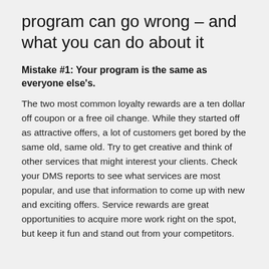program can go wrong – and what you can do about it
Mistake #1: Your program is the same as everyone else's.
The two most common loyalty rewards are a ten dollar off coupon or a free oil change. While they started off as attractive offers, a lot of customers get bored by the same old, same old. Try to get creative and think of other services that might interest your clients. Check your DMS reports to see what services are most popular, and use that information to come up with new and exciting offers. Service rewards are great opportunities to acquire more work right on the spot, but keep it fun and stand out from your competitors.